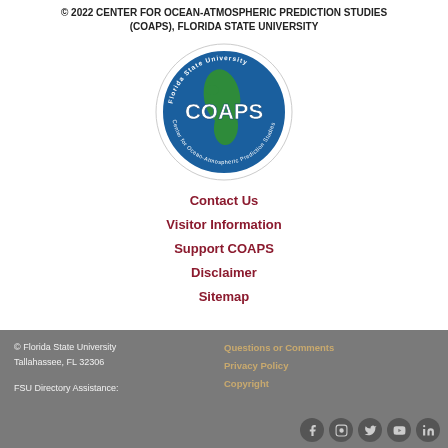© 2022 CENTER FOR OCEAN-ATMOSPHERIC PREDICTION STUDIES (COAPS), FLORIDA STATE UNIVERSITY
[Figure (logo): COAPS circular logo showing a globe with North and South America, with text 'Florida State University' and 'Center for Ocean-Atmospheric Prediction Studies' around the border, and 'COAPS' in large white text on the globe. Blue and green circular design.]
Contact Us
Visitor Information
Support COAPS
Disclaimer
Sitemap
© Florida State University
Tallahassee, FL 32306

FSU Directory Assistance:

Questions or Comments
Privacy Policy
Copyright